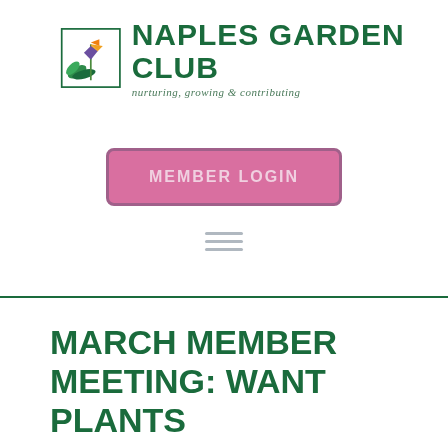[Figure (logo): Naples Garden Club logo with bird of paradise flower and green text reading NAPLES GARDEN CLUB with tagline nurturing, growing & contributing]
MEMBER LOGIN
[Figure (other): Hamburger menu icon with three horizontal lines]
MARCH MEMBER MEETING: WANT PLANTS ON THE LANAI? USE